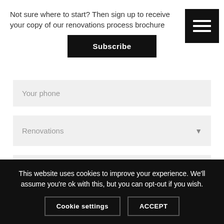Not sure where to start? Then sign up to receive your copy of our renovations process brochure
Subscribe
Your phone
Renovations
Deadline
This website uses cookies to improve your experience. We'll assume you're ok with this, but you can opt-out if you wish.
Cookie settings
ACCEPT